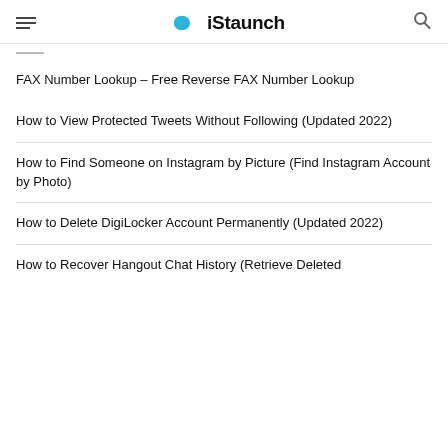iStaunch
FAX Number Lookup – Free Reverse FAX Number Lookup
How to View Protected Tweets Without Following (Updated 2022)
How to Find Someone on Instagram by Picture (Find Instagram Account by Photo)
How to Delete DigiLocker Account Permanently (Updated 2022)
How to Recover Hangout Chat History (Retrieve Deleted